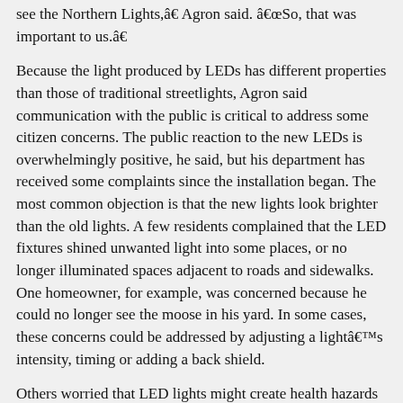see the Northern Lights,â€ Agron said. â€œSo, that was important to us.â€
Because the light produced by LEDs has different properties than those of traditional streetlights, Agron said communication with the public is critical to address some citizen concerns. The public reaction to the new LEDs is overwhelmingly positive, he said, but his department has received some complaints since the installation began. The most common objection is that the new lights look brighter than the old lights. A few residents complained that the LED fixtures shined unwanted light into some places, or no longer illuminated spaces adjacent to roads and sidewalks. One homeowner, for example, was concerned because he could no longer see the moose in his yard. In some cases, these concerns could be addressed by adjusting a lightâ€™s intensity, timing or adding a back shield.
Others worried that LED lights might create health hazards or that the control nodes contained camera equipment to spy on them. Many of these concerns can be dispelled through a public information campaign prior to and during the implementation, Agron said. Anchorage posted a Frequently Asked Questions page on the cityâ€™s web site and took advantage of coverage in the local media.
As a footnote, Agron said the municipality and other agencies in...